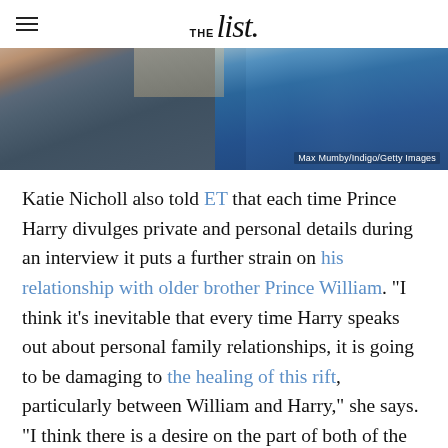THE list
[Figure (photo): Two men in military dress uniforms, photo credit: Max Mumby/Indigo/Getty Images]
Max Mumby/Indigo/Getty Images
Katie Nicholl also told ET that each time Prince Harry divulges private and personal details during an interview it puts a further strain on his relationship with older brother Prince William. "I think it's inevitable that every time Harry speaks out about personal family relationships, it is going to be damaging to the healing of this rift, particularly between William and Harry," she says. "I think there is a desire on the part of both of the brothers to move on, to try and heal this relationship. The problem is,